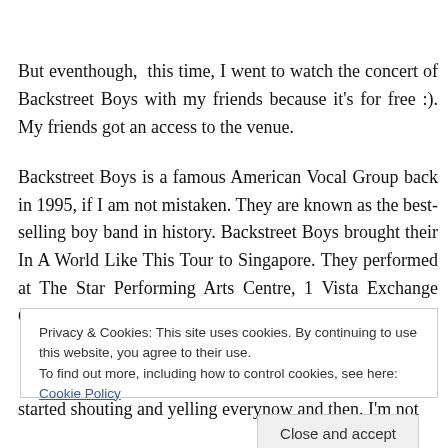But eventhough, this time, I went to watch the concert of Backstreet Boys with my friends because it's for free :). My friends got an access to the venue.
Backstreet Boys is a famous American Vocal Group back in 1995, if I am not mistaken. They are known as the best-selling boy band in history. Backstreet Boys brought their In A World Like This Tour to Singapore. They performed at The Star Performing Arts Centre, 1 Vista Exchange Green Singapore. They per...
Privacy & Cookies: This site uses cookies. By continuing to use this website, you agree to their use.
To find out more, including how to control cookies, see here: Cookie Policy
started shouting and yelling everynow and then. I'm not